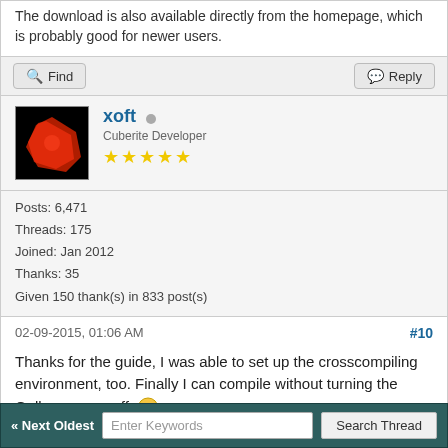The download is also available directly from the homepage, which is probably good for newer users.
Find | Reply
xoft · Cuberite Developer · ★★★★★
Posts: 6,471
Threads: 175
Joined: Jan 2012
Thanks: 35
Given 150 thank(s) in 833 post(s)
02-09-2015, 01:06 AM #10
Thanks for the guide, I was able to set up the crosscompiling environment, too. Finally I can compile without turning the Gallery server off 😀
Find | Reply
« Next Oldest  Enter Keywords  Search Thread